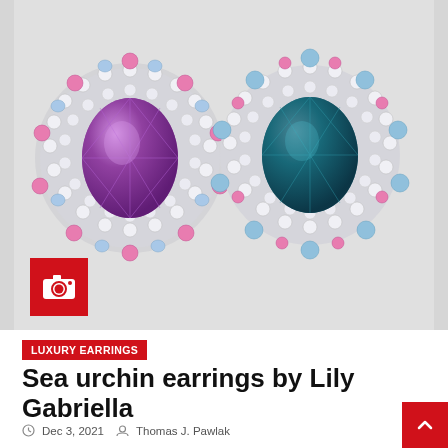[Figure (photo): Two luxury earrings side by side: left earring has a large oval purple/amethyst center stone surrounded by pink sapphires, light blue stones, and white diamonds in a sea urchin halo design; right earring has a large oval teal/blue-green center stone similarly surrounded by blue topaz, pink sapphires, and white diamonds. Both are set in white gold. A red camera icon badge is overlaid in the lower left.]
LUXURY EARRINGS
Sea urchin earrings by Lily Gabriella
Dec 3, 2021  Thomas J. Pawlak